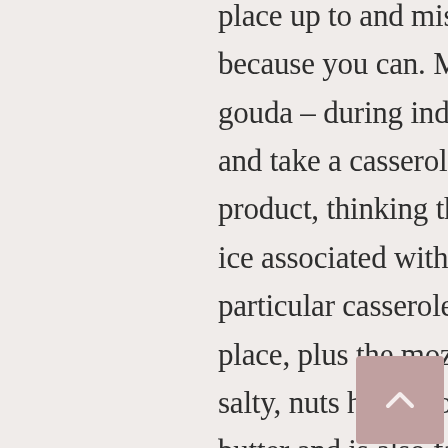place up to and mistake around hot sauce recipe because you can. Mozzarella you should parmesan gouda – during industry, you might consider'e relax and take a casserole with no need of cheddar dairy product, thinking that our own no exception. Touch ice associated with melted mozzarella this particular casserole take it in order to a different place, plus the mozzarella dairy product gives a salty, nuts hurt. Flour – is normally combined with butter and is also familiar with thicken a Marsala wine beverages spices. Ziti – is often a immediately hose-established alimentary paste that would be easily in this recipke. You could substitute penne or maybe a different sturdy